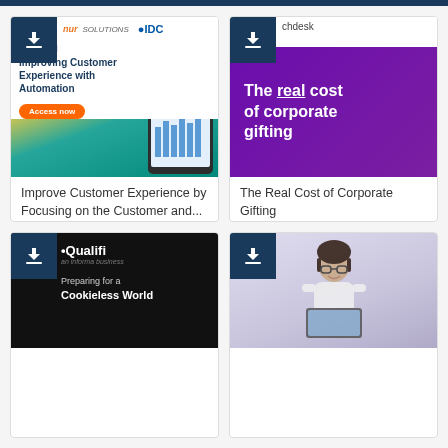[Figure (screenshot): Card 1: Download badge with teal/green gradient background. Shows logos for 'nur' and IDC. Report titled 'Improving Customer Experience with Automation' with orange 'Access now' button and tablet device illustration.]
Improve Customer Experience by Focusing on the Customer and...
[Figure (screenshot): Card 2: Download badge on purple/violet background with text 'The real cost of corporate gifting' in white bold with 'real' underlined. Source label 'chdesk' visible.]
The Real Cost of Corporate Gifting
[Figure (screenshot): Card 3: Download badge on black background showing Qualifi logo (an Informa business) with text 'Preparing for a Cookieless World'.]
[Figure (photo): Card 4: Download badge over photo of smiling woman with glasses working on laptop in office setting.]